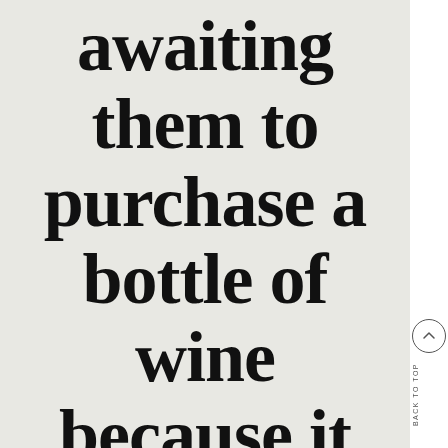awaiting them to purchase a bottle of wine because it will
BACK TO TOP